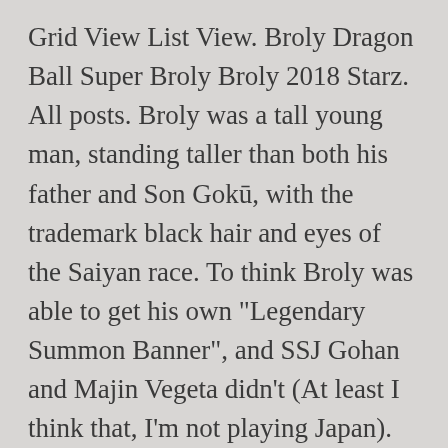Grid View List View. Broly Dragon Ball Super Broly Broly 2018 Starz. All posts. Broly was a tall young man, standing taller than both his father and Son Gokū, with the trademark black hair and eyes of the Saiyan race. To think Broly was able to get his own "Legendary Summon Banner", and SSJ Gohan and Majin Vegeta didn't (At least I think that, I'm not playing Japan). Love, pain, funny and savage. A new record! Jetzt Staffel 4 von Dragonball Super und weitere Staffeln komplett als gratis HD-Stream mehrsprachig online ansehen. Inspired designs on t-shirts, posters, stickers, home decor, and more by independent artists and designers from